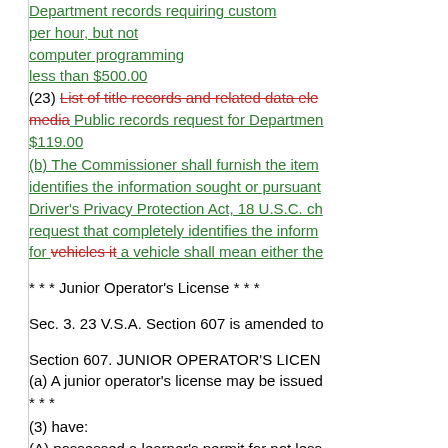Department records requiring custom per hour, but not computer programming less than $500.00
(23) List of title records and related data elements media Public records request for Department $119.00
(b) The Commissioner shall furnish the item identifies the information sought or pursuant Driver's Privacy Protection Act, 18 U.S.C. ch request that completely identifies the information for vehicles it a vehicle shall mean either the
* * * Junior Operator's License * * *
Sec. 3. 23 V.S.A. Section 607 is amended to
Section 607. JUNIOR OPERATOR'S LICENSE
(a) A junior operator's license may be issued
* * *
(3) have:
(A) possessed a learner's permit for not less
(B) submitted on a form provided by the Department the operator's licensed parent or guardian, license age that there has been: